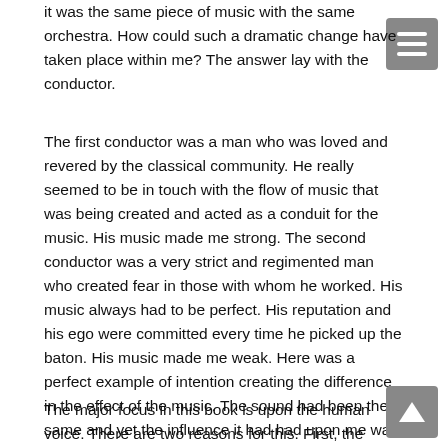it was the same piece of music with the same orchestra. How could such a dramatic change have taken place within me? The answer lay with the conductor.
The first conductor was a man who was loved and revered by the classical community. He really seemed to be in touch with the flow of music that was being created and acted as a conduit for the music. His music made me strong. The second conductor was a very strict and regimented man who created fear in those with whom he worked. His music always had to be perfect. His reputation and his ego were committed every time he picked up the baton. His music made me weak. Here was a perfect example of intention creating the difference in the effect of the music. The sound had been the same and yet the influence it had had upon me was very different.
The major focus in this book is upon the human voice. There are two reasons for this. First, the human voice is